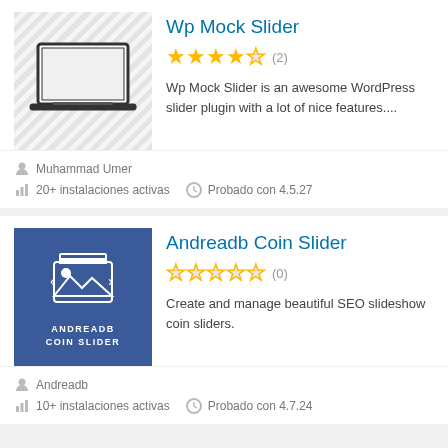Wp Mock Slider
★★★★☆ (2)
Wp Mock Slider is an awesome WordPress slider plugin with a lot of nice features....
Muhammad Umer
20+ instalaciones activas   Probado con 4.5.27
Andreadb Coin Slider
☆☆☆☆☆ (0)
Create and manage beautiful SEO slideshow coin sliders.
Andreadb
10+ instalaciones activas   Probado con 4.7.24